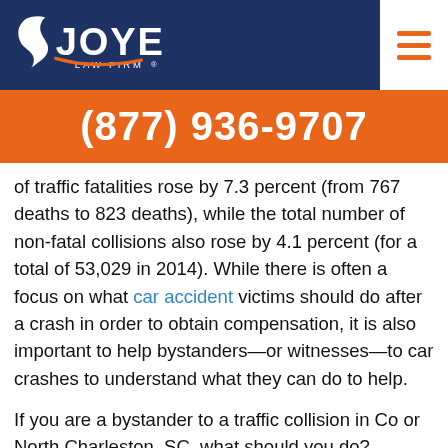Joye Law Firm® — (877) 936-9707
of traffic fatalities rose by 7.3 percent (from 767 deaths to 823 deaths), while the total number of non-fatal collisions also rose by 4.1 percent (for a total of 53,029 in 2014). While there is often a focus on what car accident victims should do after a crash in order to obtain compensation, it is also important to help bystanders—or witnesses—to car crashes to understand what they can do to help.
If you are a bystander to a traffic collision in Co or North Charleston, SC, what should you do? have a responsibility to help injury victims? Should